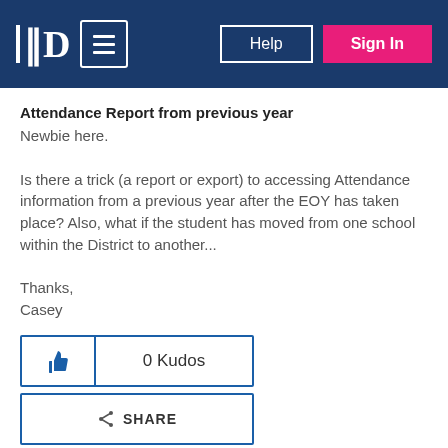P [menu] Help Sign In
Attendance Report from previous year
Newbie here.

Is there a trick (a report or export) to accessing Attendance information from a previous year after the EOY has taken place? Also, what if the student has moved from one school within the District to another...

Thanks,
Casey